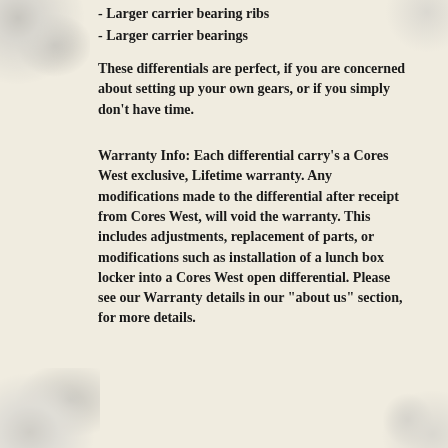- Larger carrier bearing ribs
- Larger carrier bearings
These differentials are perfect, if you are concerned about setting up your own gears, or if you simply don't have time.
Warranty Info: Each differential carry's a Cores West exclusive, Lifetime warranty. Any modifications made to the differential after receipt from Cores West, will void the warranty. This includes adjustments, replacement of parts, or modifications such as installation of a lunch box locker into a Cores West open differential. Please see our Warranty details in our "about us" section, for more details.